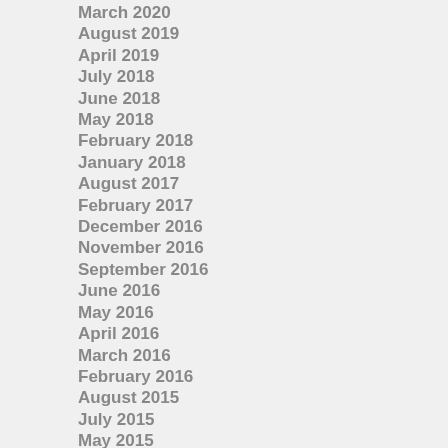March 2020
August 2019
April 2019
July 2018
June 2018
May 2018
February 2018
January 2018
August 2017
February 2017
December 2016
November 2016
September 2016
June 2016
May 2016
April 2016
March 2016
February 2016
August 2015
July 2015
May 2015
April 2015
March 2015